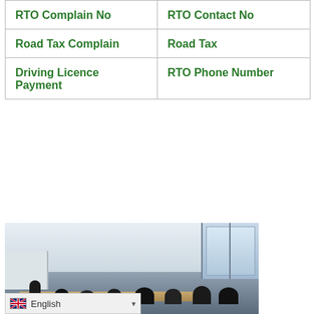RTO Complain No
RTO Contact No
Road Tax Complain
Road Tax
Driving Licence Payment
RTO Phone Number
[Figure (photo): Interior of a classroom or conference room with people seated at a table, a presenter at the front, ceiling lights, and windows on the right side.]
English